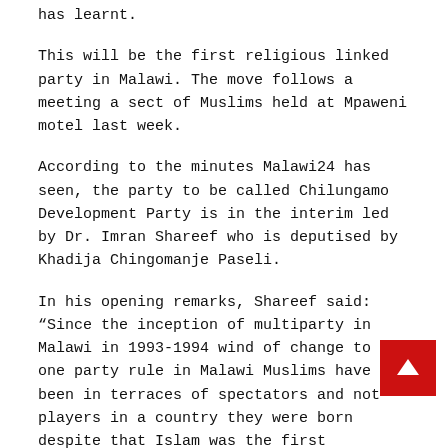has learnt.
This will be the first religious linked party in Malawi. The move follows a meeting a sect of Muslims held at Mpaweni motel last week.
According to the minutes Malawi24 has seen, the party to be called Chilungamo Development Party is in the interim led by Dr. Imran Shareef who is deputised by Khadija Chingomanje Paseli.
In his opening remarks, Shareef said: “Since the inception of multiparty in Malawi in 1993-1994 wind of change to end one party rule in Malawi Muslims have been in terraces of spectators and not players in a country they were born despite that Islam was the first denomination in Malawi. Muslims have heavily contributed to change any Government Administration but at the end they have been ignored.”
The minutes further reveal that Shareef went ahead to